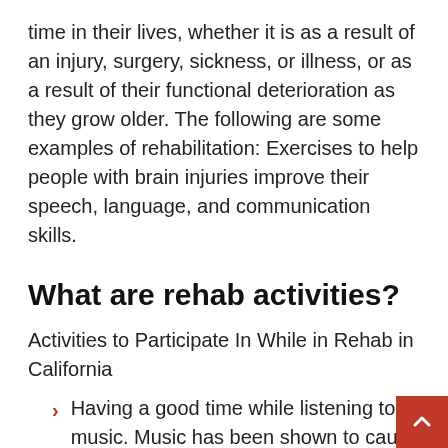time in their lives, whether it is as a result of an injury, surgery, sickness, or illness, or as a result of their functional deterioration as they grow older. The following are some examples of rehabilitation: Exercises to help people with brain injuries improve their speech, language, and communication skills.
What are rehab activities?
Activities to Participate In While in Rehab in California
Having a good time while listening to music. Music has been shown to cause a